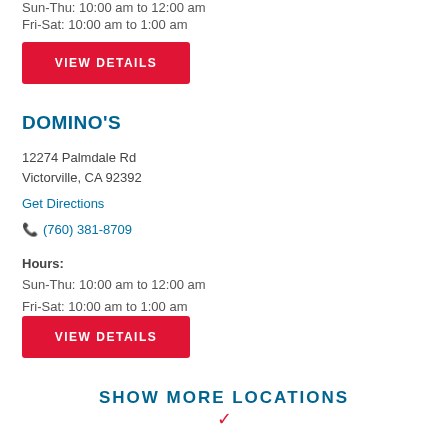Sun-Thu: 10:00 am to 12:00 am
Fri-Sat: 10:00 am to 1:00 am
VIEW DETAILS
DOMINO'S
12274 Palmdale Rd
Victorville, CA 92392
Get Directions
(760) 381-8709
Hours:
Sun-Thu: 10:00 am to 12:00 am
Fri-Sat: 10:00 am to 1:00 am
VIEW DETAILS
SHOW MORE LOCATIONS